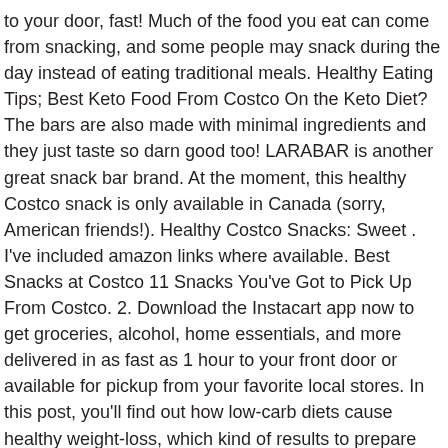to your door, fast! Much of the food you eat can come from snacking, and some people may snack during the day instead of eating traditional meals. Healthy Eating Tips; Best Keto Food From Costco On the Keto Diet? The bars are also made with minimal ingredients and they just taste so darn good too! LARABAR is another great snack bar brand. At the moment, this healthy Costco snack is only available in Canada (sorry, American friends!). Healthy Costco Snacks: Sweet . I've included amazon links where available. Best Snacks at Costco 11 Snacks You've Got to Pick Up From Costco. 2. Download the Instacart app now to get groceries, alcohol, home essentials, and more delivered in as fast as 1 hour to your front door or available for pickup from your favorite local stores. In this post, you'll find out how low-carb diets cause healthy weight-loss, which kind of results to prepare for, and how to use keto for efficient and safe weight reduction. Is that these protein bars – I buy these once in a while for when I ' on. Deluxe chocolate Trail Mix is a tempting combo of nuts, whole grains or fruit,